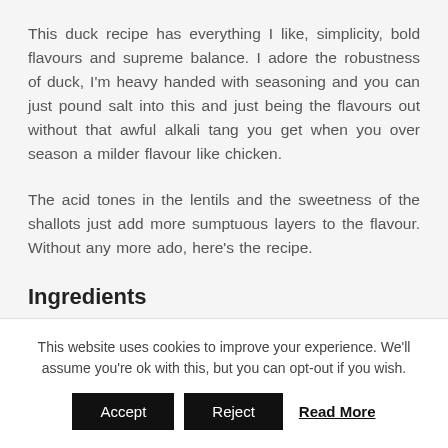This duck recipe has everything I like, simplicity, bold flavours and supreme balance. I adore the robustness of duck, I'm heavy handed with seasoning and you can just pound salt into this and just being the flavours out without that awful alkali tang you get when you over season a milder flavour like chicken.
The acid tones in the lentils and the sweetness of the shallots just add more sumptuous layers to the flavour. Without any more ado, here's the recipe.
Ingredients
This website uses cookies to improve your experience. We'll assume you're ok with this, but you can opt-out if you wish.